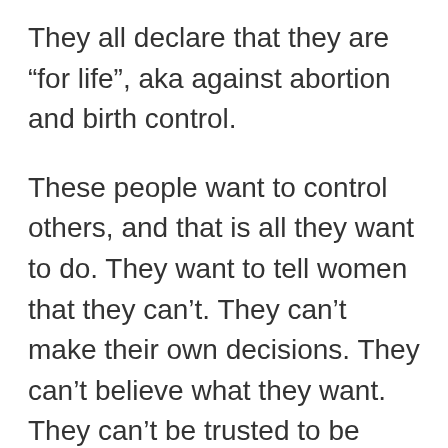They all declare that they are “for life”, aka against abortion and birth control.
These people want to control others, and that is all they want to do. They want to tell women that they can’t. They can’t make their own decisions. They can’t believe what they want. They can’t be trusted to be